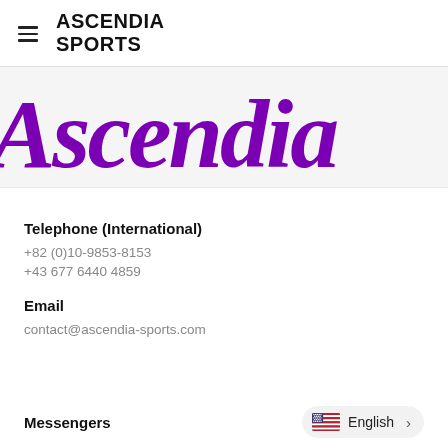ASCENDIA SPORTS
[Figure (logo): Ascendia cursive purple logo text in large italic script on light grey background]
Telephone (International)
+82 (0)10-9853-8153
+43 677 6440 4859
Email
contact@ascendia-sports.com
Messengers
English